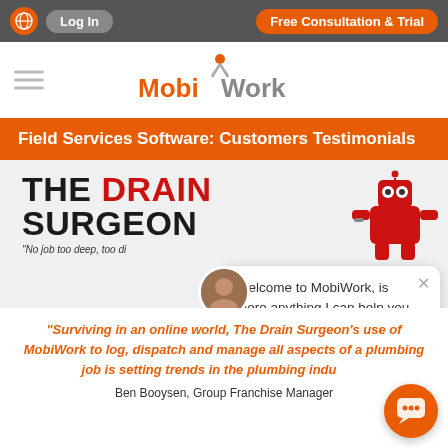Log In | Free Consultation & Trial
[Figure (logo): MobiWork logo with orange figure and text]
Field Services Software: Customers Testimonials
[Figure (logo): The Drain Surgeon logo with red robot mascot and tagline: No job too deep, too difficult...]
Welcome to MobiWork, is there anything I can help you with?
"Surviving in an online world, The Drain Surgeon's use of MobiWork to log, dispatch and manage all aspects of a plumbing job is setting trends in the plumbing industry"
Ben Booysen, Group Franchise Manager